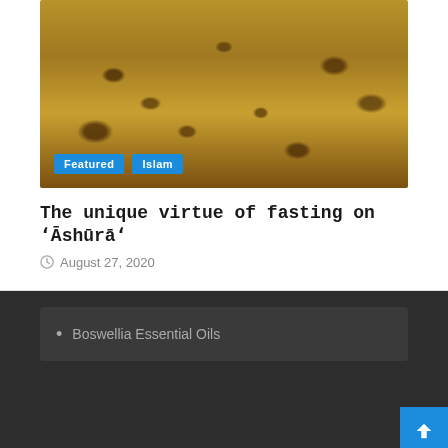[Figure (photo): Aerial or close-up view of cracked, dry earth or ornate patterned surface with golden-brown tones. Two blue category badges labeled 'Featured' and 'Islam' overlaid at bottom left.]
The unique virtue of fasting on ʻĀshūrāʼ
August 27, 2020
Boswellia Essential Oils
Copyright © All rights reserved. | MoreNews by AF themes.